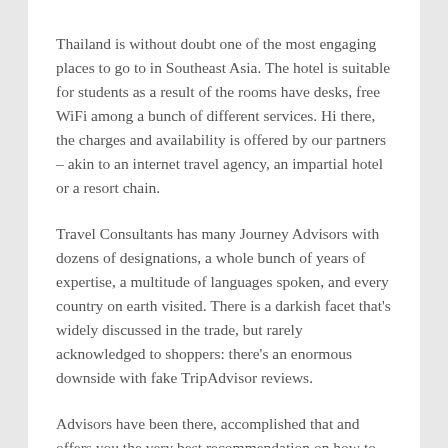Thailand is without doubt one of the most engaging places to go to in Southeast Asia. The hotel is suitable for students as a result of the rooms have desks, free WiFi among a bunch of different services. Hi there, the charges and availability is offered by our partners – akin to an internet travel agency, an impartial hotel or a resort chain.
Travel Consultants has many Journey Advisors with dozens of designations, a whole bunch of years of expertise, a multitude of languages spoken, and every country on earth visited. There is a darkish facet that's widely discussed in the trade, but rarely acknowledged to shoppers: there's an enormous downside with fake TripAdvisor reviews.
Advisors have been there, accomplished that and offers you the very best recommendation on how to get the most out of your journey. The good news for you is that TripAdvisor does not listen to me (or the experts who